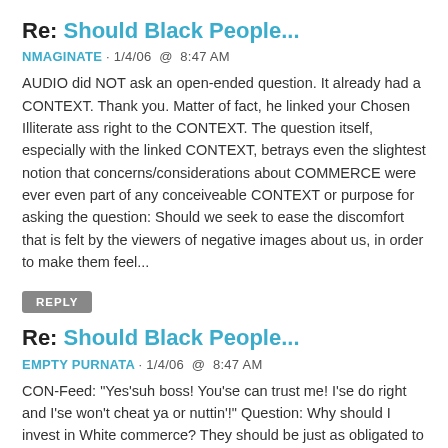Re: Should Black People...
NMAGINATE · 1/4/06  @  8:47 AM
AUDIO did NOT ask an open-ended question. It already had a CONTEXT. Thank you. Matter of fact, he linked your Chosen Illiterate ass right to the CONTEXT. The question itself, especially with the linked CONTEXT, betrays even the slightest notion that concerns/considerations about COMMERCE were ever even part of any conceiveable CONTEXT or purpose for asking the question: Should we seek to ease the discomfort that is felt by the viewers of negative images about us, in order to make them feel...
REPLY
Re: Should Black People...
EMPTY PURNATA · 1/4/06  @  8:47 AM
CON-Feed: "Yes'suh boss! You'se can trust me! I'se do right and I'se won't cheat ya or nuttin'!" Question: Why should I invest in White commerce? They should be just as obligated to show ME that MY money is safe in their hands. 1) You assume that White racial discrimination against Minorities in business is well-founded. 2) You are implying that White business is self-evidently trustworthy. And they should do the same with us. But, no, you don't believe in that. The White man can always be...